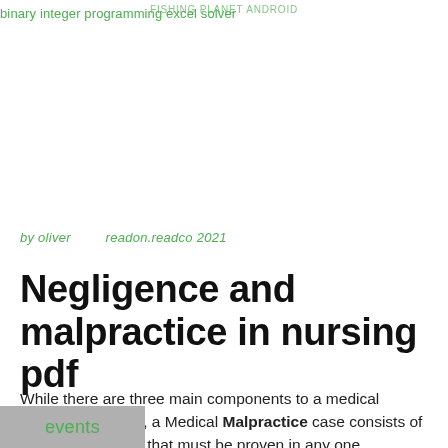binary integer programming excel solver
FISHING PLANET ANDROID
by oliver        readon.readco 2021
Negligence and malpractice in nursing pdf
While there are three main components to a medical malpractice case, a Medical Malpractice case consists of different elements that must be proven in any one malpractice case. Elements of a medical malpractice case include: (1) Duty, (2) Breach of.
events